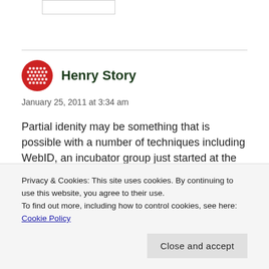[Figure (other): Small rectangular UI element (button or input box outline) near top left]
Henry Story
January 25, 2011 at 3:34 am
Partial idenity may be something that is possible with a number of techniques including WebID, an incubator group just started at the W3C http://www.w3.org/2005/Incubator/webid/charter
Privacy & Cookies: This site uses cookies. By continuing to use this website, you agree to their use.
To find out more, including how to control cookies, see here: Cookie Policy